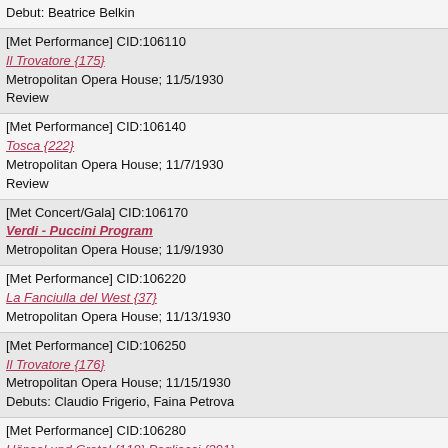Debut: Beatrice Belkin
[Met Performance] CID:106110
Il Trovatore {175}
Metropolitan Opera House; 11/5/1930
Review
[Met Performance] CID:106140
Tosca {222}
Metropolitan Opera House; 11/7/1930
Review
[Met Concert/Gala] CID:106170
Verdi - Puccini Program
Metropolitan Opera House; 11/9/1930
[Met Performance] CID:106220
La Fanciulla del West {37}
Metropolitan Opera House; 11/13/1930
[Met Performance] CID:106250
Il Trovatore {176}
Metropolitan Opera House; 11/15/1930
Debuts: Claudio Frigerio, Faina Petrova
[Met Performance] CID:106280
Hänsel und Gretel {118} Pagliacci {291}
American Academy of Music, Philadelphia, Pennsylvania; 11/18/1930
[Met Performance] CID:106310
La Forza del Destino {35}
Metropolitan Opera House; 11/21/1930
Debut: Olga Didur
Review
[Met Performance] CID:106370